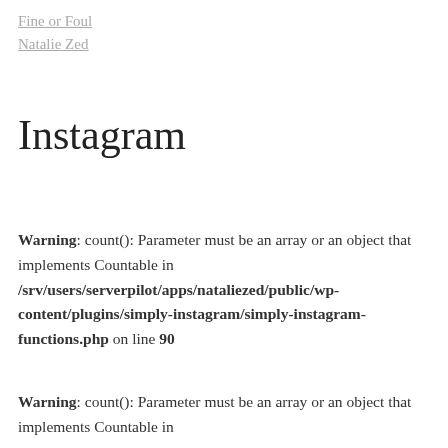Fine or Foul
Natalie Zed
Instagram
Warning: count(): Parameter must be an array or an object that implements Countable in /srv/users/serverpilot/apps/nataliezed/public/wp-content/plugins/simply-instagram/simply-instagram-functions.php on line 90
Warning: count(): Parameter must be an array or an object that implements Countable in